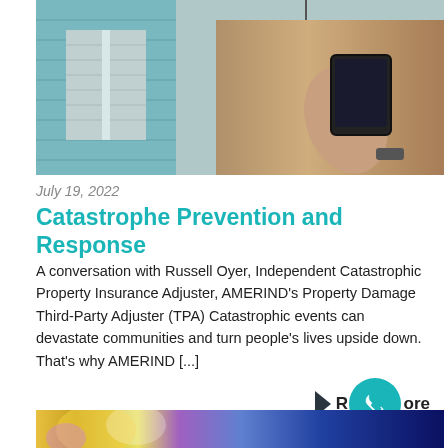[Figure (photo): Person in tan short-sleeved shirt holding a black tablet device, standing in front of a house with teal/blue siding and white shutters. A lantern hangs near the door. The photo is cropped to show the torso and arms of the person.]
July 19, 2022
Catastrophe Prevention and Response
A conversation with Russell Oyer, Independent Catastrophic Property Insurance Adjuster, AMERIND’s Property Damage Third-Party Adjuster (TPA) Catastrophic events can devastate communities and turn people’s lives upside down. That’s why AMERIND [...]
[Figure (photo): Abstract blurred colorful background with warm yellow, purple, orange tones on left fading to deep blue/indigo on the right. Bottom strip of page.]